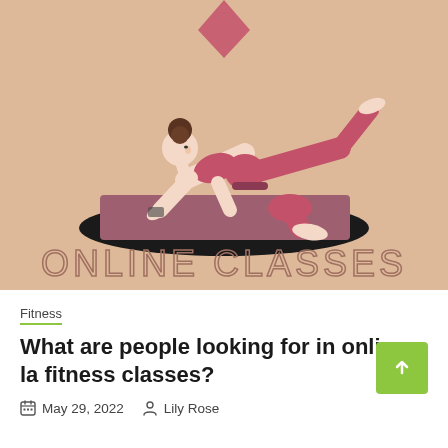[Figure (illustration): Illustration of a woman in pink athletic wear doing a yoga/fitness pose on a mauve mat on a black oval shadow. Beige/tan background with a pink diamond shape at top. Text 'ONLINE CLASSES' in large outlined letters at the bottom of the image.]
Fitness
What are people looking for in online la fitness classes?
May 29, 2022   Lily Rose